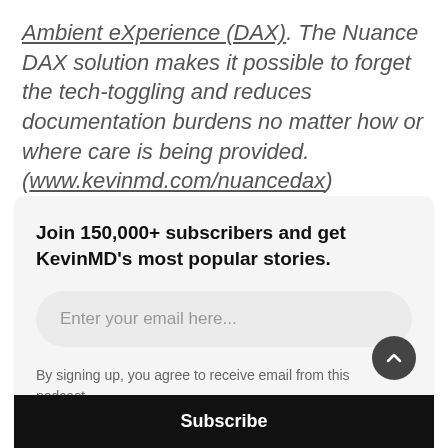Ambient eXperience (DAX). The Nuance DAX solution makes it possible to forget the tech-toggling and reduces documentation burdens no matter how or where care is being provided. (www.kevinmd.com/nuancedax)
Join 150,000+ subscribers and get KevinMD's most popular stories.
Enter your email here...
By signing up, you agree to receive email from this podcast.
Subscribe